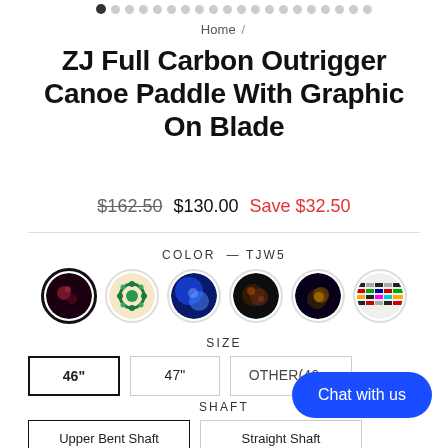• · · · · · · · · · · · · · · · · · · · ·
Home /
ZJ Full Carbon Outrigger Canoe Paddle With Graphic On Blade
$162.50  $130.00  Save $32.50
COLOR — TJW5
[Figure (other): Six circular color swatch options for paddle graphic; first one selected with dark border]
SIZE
46"  47"  OTHER(46...)
SHAFT
Upper Bent Shaft  Straight Shaft
Chat with us